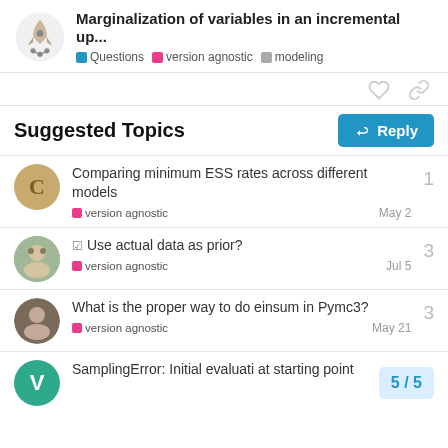Marginalization of variables in an incremental up... | Questions | version agnostic | modeling
Suggested Topics
Comparing minimum ESS rates across different models | version agnostic | May 2 | 1
✓ Use actual data as prior? | version agnostic | Jul 5 | 3
What is the proper way to do einsum in Pymc3? | version agnostic | May 21 | 3
SamplingError: Initial evaluati... at starting point | 5 / 5